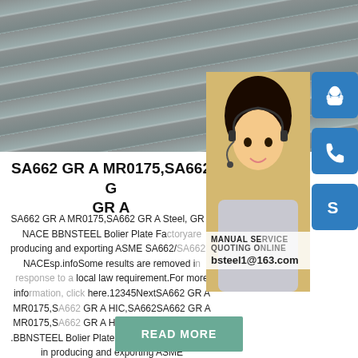[Figure (photo): Top banner photo of steel plates stacked with metal rollers/rods in background, industrial grey tones]
[Figure (photo): Right-side overlay collage: a female customer service representative wearing a headset, three blue rounded square icons (headset/support, phone, Skype logo), text overlay reading MANUAL SERVICE, QUOTING ONLINE, bsteel1@163.com]
SA662 GR A MR0175,SA662 GR A
SA662 GR A MR0175,SA662 GR A Steel, GR A NACE BBNSTEEL Bolier Plate Factoryare producing and exporting ASME SA662/SA662M NACEsp.infoSome results are removed in response to a local law requirement.For more information, click here.12345NextSA662 GR A MR0175,SA662 GR A HIC,SA662SA662 GR A MR0175,SA662 GR A HIC,SA662 GR A NACE .BBNSTEEL Bolier Plate Factoryare specialized in producing and exporting ASME SA662/SA662M SA662 GR A NACE MR0175,MR0103 Boiler steel plate,Low alloy and high strength steel plate,